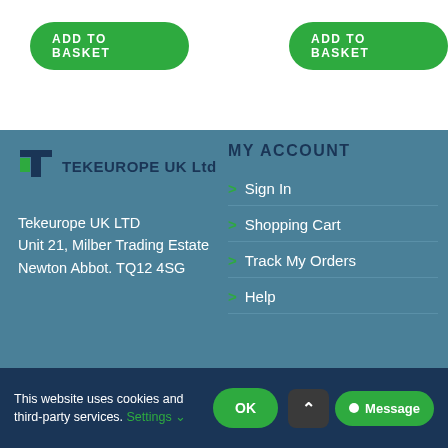[Figure (other): Two green ADD TO BASKET buttons at the top of the page]
[Figure (logo): Tekeurope UK Ltd logo with T icon in dark blue and green]
Tekeurope UK LTD
Unit 21, Milber Trading Estate
Newton Abbot. TQ12 4SG
MY ACCOUNT
Sign In
Shopping Cart
Track My Orders
Help
This website uses cookies and third-party services. Settings
[Figure (other): OK button, up arrow button, and Message button in cookie bar]